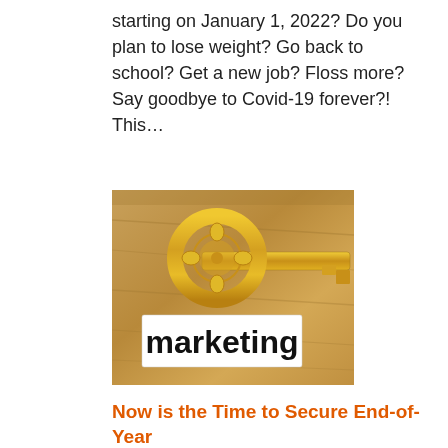starting on January 1, 2022? Do you plan to lose weight? Go back to school? Get a new job? Floss more? Say goodbye to Covid-19 forever?! This…
[Figure (photo): A golden ornate key resting on a wooden surface next to a white card printed with the word 'marketing' in bold black text.]
Now is the Time to Secure End-of-Year